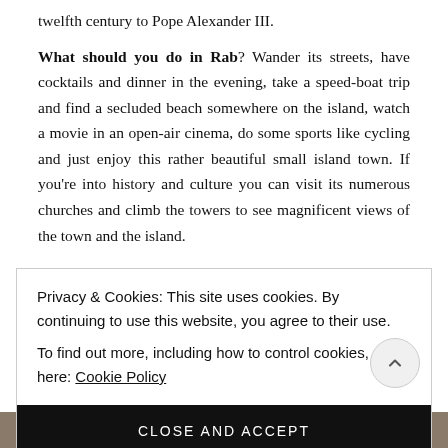twelfth century to Pope Alexander III.
What should you do in Rab? Wander its streets, have cocktails and dinner in the evening, take a speed-boat trip and find a secluded beach somewhere on the island, watch a movie in an open-air cinema, do some sports like cycling and just enjoy this rather beautiful small island town. If you're into history and culture you can visit its numerous churches and climb the towers to see magnificent views of the town and the island.
Privacy & Cookies: This site uses cookies. By continuing to use this website, you agree to their use.
To find out more, including how to control cookies, see here: Cookie Policy
CLOSE AND ACCEPT
[Figure (photo): Partial photo strip at the bottom of the page showing a building scene]